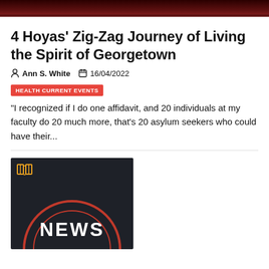[Figure (photo): Top dark red/maroon image strip cropped at top of page]
4 Hoyas’ Zig-Zag Journey of Living the Spirit of Georgetown
Ann S. White  16/04/2022
HEALTH CURRENT EVENTS
“I recognized if I do one affidavit, and 20 individuals at my faculty do 20 much more, that’s 20 asylum seekers who could have their...
[Figure (illustration): Dark background graphic with a book icon in orange, red circle/arch design, and large white bold text reading NEWS]